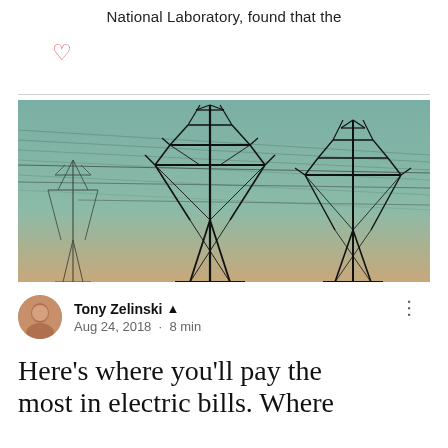National Laboratory, found that the
[Figure (illustration): Heart/like icon (outline heart shape in red/pink color)]
[Figure (photo): Photograph of electrical transmission towers/pylons with power lines against a teal/green-orange gradient sky]
Tony Zelinski ▲ Aug 24, 2018 · 8 min
Here's where you'll pay the most in electric bills. Where